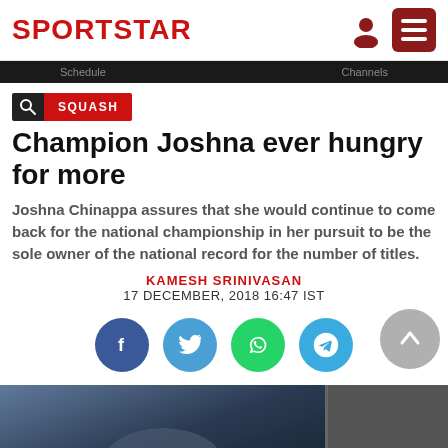SPORTSTAR
SQUASH
Champion Joshna ever hungry for more
Joshna Chinappa assures that she would continue to come back for the national championship in her pursuit to be the sole owner of the national record for the number of titles.
KAMESH SRINIVASAN
17 DECEMBER, 2018 16:47 IST
[Figure (other): Social media share buttons: Facebook, Twitter, WhatsApp, Telegram; scroll-to-top button]
[Figure (photo): Partial photo strip at bottom of page showing a sports scene]